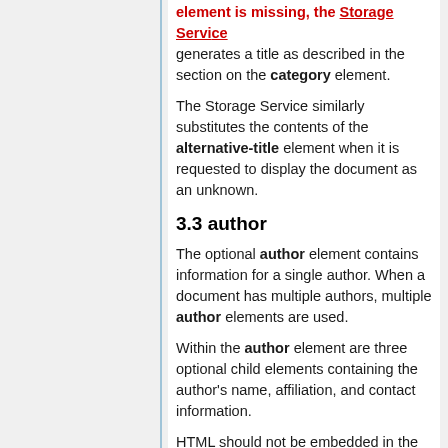element is missing, the Storage Service generates a title as described in the section on the category element.
The Storage Service similarly substitutes the contents of the alternative-title element when it is requested to display the document as an unknown.
3.3 author
The optional author element contains information for a single author. When a document has multiple authors, multiple author elements are used.
Within the author element are three optional child elements containing the author's name, affiliation, and contact information.
HTML should not be embedded in the author element or its children.